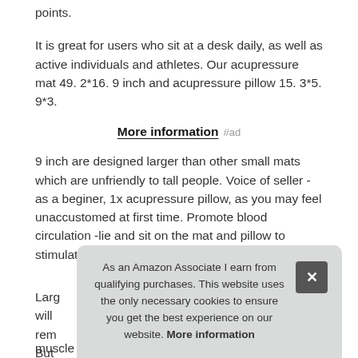points.
It is great for users who sit at a desk daily, as well as active individuals and athletes. Our acupressure mat 49. 2*16. 9 inch and acupressure pillow 15. 3*5. 9*3.
More information #ad
9 inch are designed larger than other small mats which are unfriendly to tall people. Voice of seller - as a beginer, 1x acupressure pillow, as you may feel unaccustomed at first time. Promote blood circulation -lie and sit on the mat and pillow to stimulate your skin and promote blood circulation.
Larg... will... rem... But...
muscle twinges. It is really suitable for people who does heavy
As an Amazon Associate I earn from qualifying purchases. This website uses the only necessary cookies to ensure you get the best experience on our website. More information